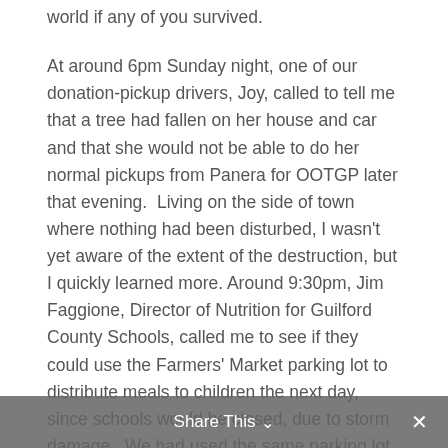world if any of you survived.
At around 6pm Sunday night, one of our donation-pickup drivers, Joy, called to tell me that a tree had fallen on her house and car and that she would not be able to do her normal pickups from Panera for OOTGP later that evening.  Living on the side of town where nothing had been disturbed, I wasn't yet aware of the extent of the destruction, but I quickly learned more. Around 9:30pm, Jim Faggione, Director of Nutrition for Guilford County Schools, called me to see if they could use the Farmers' Market parking lot to distribute meals to children the next day, since schools would be closed, due to storm damage.  We had used the same parking lot the previous summer, in partnership with the
Share This ∨  ×